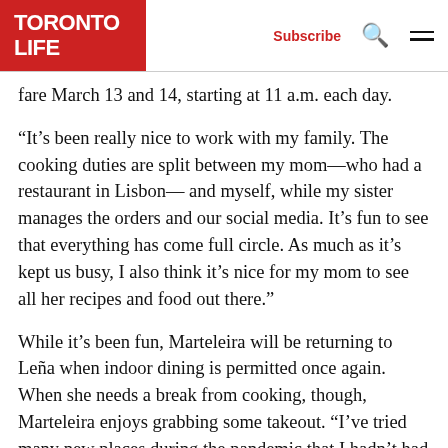TORONTO LIFE | Subscribe
fare March 13 and 14, starting at 11 a.m. each day.
“It’s been really nice to work with my family. The cooking duties are split between my mom—who had a restaurant in Lisbon— and myself, while my sister manages the orders and our social media. It’s fun to see that everything has come full circle. As much as it’s kept us busy, I also think it’s nice for my mom to see all her recipes and food out there.”
While it’s been fun, Marteleira will be returning to Leña when indoor dining is permitted once again. When she needs a break from cooking, though, Marteleira enjoys grabbing some takeout. “I’ve tried many new places during the pandemic that I hadn’t had a chance to try before.” Here are some of those finds.